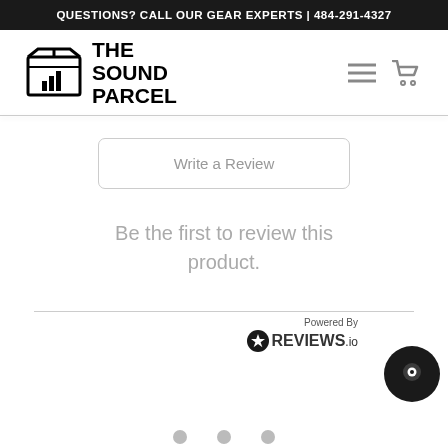QUESTIONS? CALL OUR GEAR EXPERTS | 484-291-4327
[Figure (logo): The Sound Parcel logo with box icon and text]
Write a Review
Be the first to review this product.
Powered By REVIEWS.io